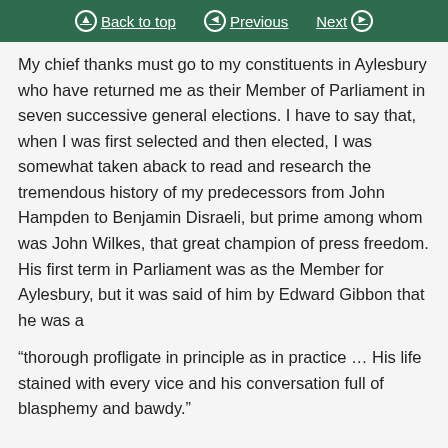Back to top | Previous | Next
My chief thanks must go to my constituents in Aylesbury who have returned me as their Member of Parliament in seven successive general elections. I have to say that, when I was first selected and then elected, I was somewhat taken aback to read and research the tremendous history of my predecessors from John Hampden to Benjamin Disraeli, but prime among whom was John Wilkes, that great champion of press freedom. His first term in Parliament was as the Member for Aylesbury, but it was said of him by Edward Gibbon that he was a
“thorough profligate in principle as in practice … His life stained with every vice and his conversation full of blasphemy and bawdy.”